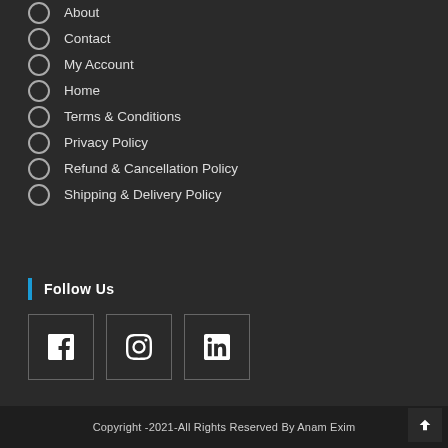About
Contact
My Account
Home
Terms & Conditions
Privacy Policy
Refund & Cancellation Policy
Shipping & Delivery Policy
Follow Us
[Figure (infographic): Three social media icons (Facebook, Instagram, LinkedIn) each inside a square bordered box]
Copyright -2021-All Rights Reserved By Anam Exim